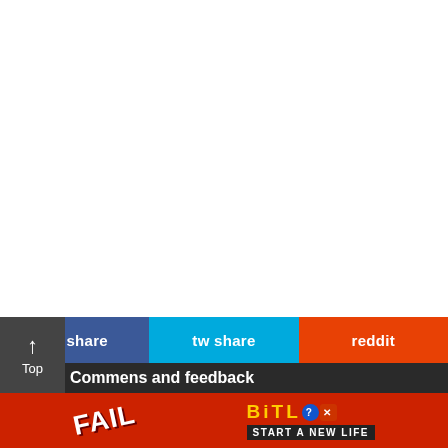[Figure (screenshot): White blank area taking up the top two-thirds of the page]
FB share
tw share
reddit
↑ Top
Commens and feedback
[Figure (infographic): Advertisement banner for BitLife game featuring a FAIL badge with cartoon character and Start A New Life text on red background with blue side panels]